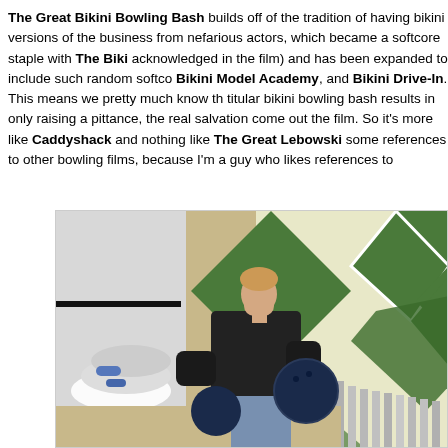The Great Bikini Bowling Bash builds off of the tradition of having bikini versions of the business from nefarious actors, which became a softcore staple with The Biki acknowledged in the film) and has been expanded to include such random softco Bikini Model Academy, and Bikini Drive-In. This means we pretty much know th titular bikini bowling bash results in only raising a pittance, the real salvation come out the film. So it's more like Caddyshack and nothing like The Great Lebowski some references to other bowling films, because I'm a guy who likes references to
[Figure (photo): A man in a black bowling shirt holding a bowling ball in an indoor bowling alley with green diamond-patterned walls and bowling lane equipment visible in the background.]